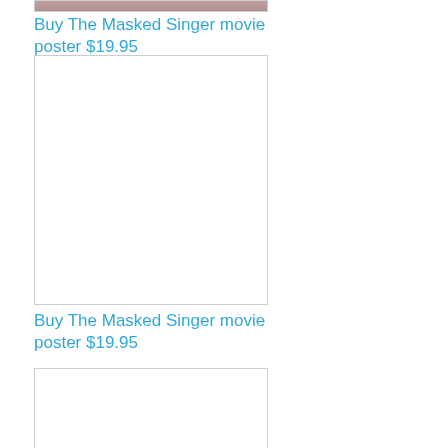[Figure (photo): Partial movie poster image at top of page, cropped]
Buy The Masked Singer movie poster $19.95
[Figure (photo): Empty white movie poster placeholder box with border]
Buy The Masked Singer movie poster $19.95
[Figure (photo): Empty white movie poster placeholder box with border, partially visible]